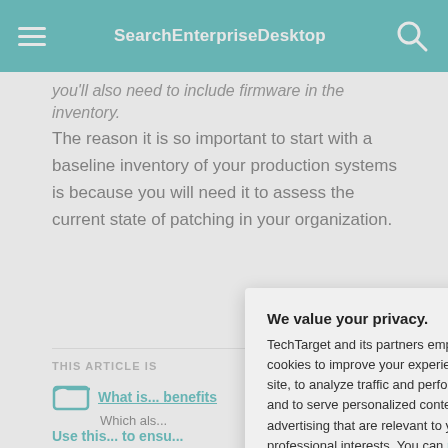SearchEnterpriseDesktop
you'll also need to include firmware in the inventory.
The reason it is so important to start with a baseline inventory of your production systems is because you will need it to assess the current state of patching in your organization.
THIS ARTICLE IS
What is... benefits
Which als...
Use this... to ensu...
The risk...
Creatin...
We value your privacy.
TechTarget and its partners employ cookies to improve your experience on our site, to analyze traffic and performance, and to serve personalized content and advertising that are relevant to your professional interests. You can manage your settings at any time. Please view our Privacy Policy for more information